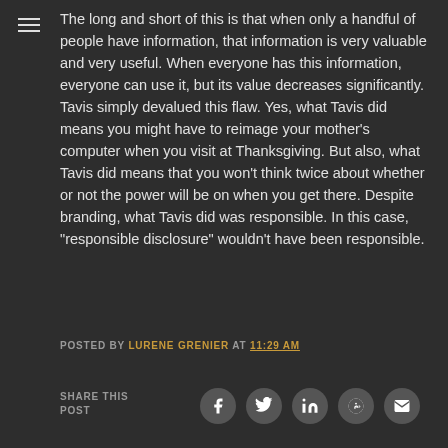The long and short of this is that when only a handful of people have information, that information is very valuable and very useful. When everyone has this information, everyone can use it, but its value decreases significantly. Tavis simply devalued this flaw. Yes, what Tavis did means you might have to reimage your mother's computer when you visit at Thanksgiving. But also, what Tavis did means that you won't think twice about whether or not the power will be on when you get there. Despite branding, what Tavis did was responsible. In this case, "responsible disclosure" wouldn't have been responsible.
POSTED BY LURENE GRENIER AT 11:29 AM
SHARE THIS POST